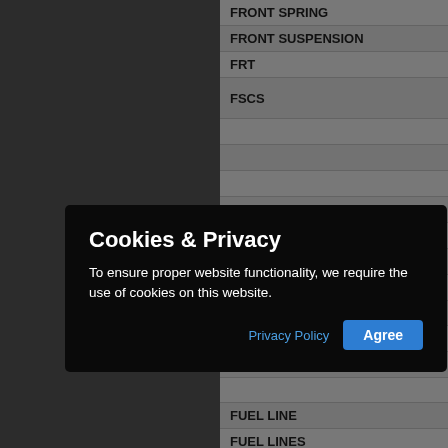| Term | Definition |
| --- | --- |
| FRONT SPRING | FRONT SP |
| FRONT SUSPENSION | FRONT AX |
| FRT | FRONT |
| FSCS | FLAT HEA CAPSCRE |
|  | , FOO |
|  | NG |
|  | CAP |
|  | FILT |
|  | FILT |
| FUEL GAUGE | FUEL GAU |
| FUEL GAUGE SENDER | FUEL SEN |
| FUEL HOSE | FUEL HOS |
| FUEL LEVEL SENDER | FUEL SEN |
| FUEL LINE | FUEL LINE |
| FUEL LINES | FUEL LINE |
| FUEL PRESSURE SWITCH | FUEL PRE |
| FUEL SENDER | FUEL SEN |
Cookies & Privacy
To ensure proper website functionality, we require the use of cookies on this website.
Privacy Policy
Agree